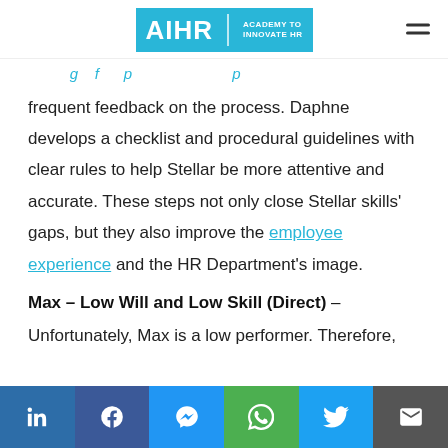AIHR | ACADEMY TO INNOVATE HR
frequent feedback on the process. Daphne develops a checklist and procedural guidelines with clear rules to help Stellar be more attentive and accurate. These steps not only close Stellar skills' gaps, but they also improve the employee experience and the HR Department's image.
Max – Low Will and Low Skill (Direct) –
Unfortunately, Max is a low performer. Therefore,
Social share bar: LinkedIn, Facebook, Messenger, WhatsApp, Twitter, Email